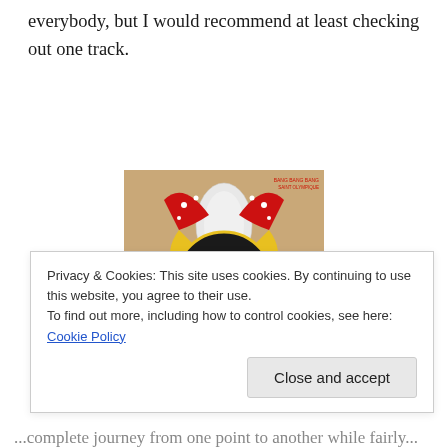everybody, but I would recommend at least checking out one track.
[Figure (photo): Album cover image showing a person wearing an elaborate colorful beaded mask/headdress with a label reading 'BANG BANG BANG SAINT OLYMPIQUE' in the top right corner.]
Privacy & Cookies: This site uses cookies. By continuing to use this website, you agree to their use.
To find out more, including how to control cookies, see here: Cookie Policy
Close and accept
...complete journey from one point to another while fairly...